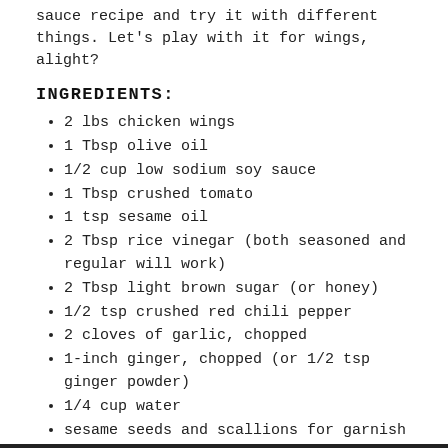sauce recipe and try it with different things. Let's play with it for wings, alight?
INGREDIENTS:
2 lbs chicken wings
1 Tbsp olive oil
1/2 cup low sodium soy sauce
1 Tbsp crushed tomato
1 tsp sesame oil
2 Tbsp rice vinegar (both seasoned and regular will work)
2 Tbsp light brown sugar (or honey)
1/2 tsp crushed red chili pepper
2 cloves of garlic, chopped
1-inch ginger, chopped (or 1/2 tsp ginger powder)
1/4 cup water
sesame seeds and scallions for garnish
DIRECTIONS: